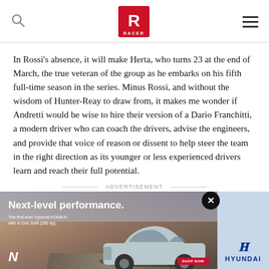RACER
In Rossi's absence, it will make Herta, who turns 23 at the end of March, the true veteran of the group as he embarks on his fifth full-time season in the series. Minus Rossi, and without the wisdom of Hunter-Reay to draw from, it makes me wonder if Andretti would be wise to hire their version of a Dario Franchitti, a modern driver who can coach the drivers, advise the engineers, and provide that voice of reason or dissent to help steer the team in the right direction as its younger or less experienced drivers learn and reach their full potential.
ADVERTISEMENT
[Figure (photo): Hyundai KONA N advertisement banner. Shows a light blue Hyundai KONA N car on a desert road. Text reads 'Next-level performance. The first-ever Hyundai KONA N with N Grin Shift (286 hp).' Hyundai logo visible bottom right.]